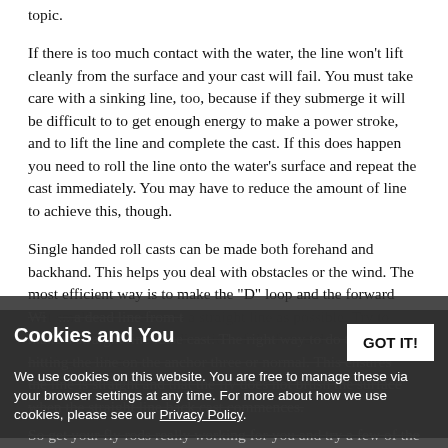topic.
If there is too much contact with the water, the line won't lift cleanly from the surface and your cast will fail. You must take care with a sinking line, too, because if they submerge it will be difficult to to get enough energy to make a power stroke, and to lift the line and complete the cast. If this does happen you need to roll the line onto the water's surface and repeat the cast immediately. You may have to reduce the amount of line to achieve this, though.
Single handed roll casts can be made both forehand and backhand. This helps you deal with obstacles or the wind. The most efficient way is to make the "D" loop and the forward cast small and as close to a straight line as possible. Try to align "D" loop with the direction of the forward cast before making a roll cast.
With... a dead line from the water to make a straight line false cast. The right way to do this by hitting the line on the anchor three or normal. This ensures the line is straight and that the fly does not brush the surface when the straight line back cast commences.
So get your fly rods really working for you and try a few of the
Cookies and You
We use cookies on this website. You are free to manage these via your browser settings at any time. For more about how we use cookies, please see our Privacy Policy.